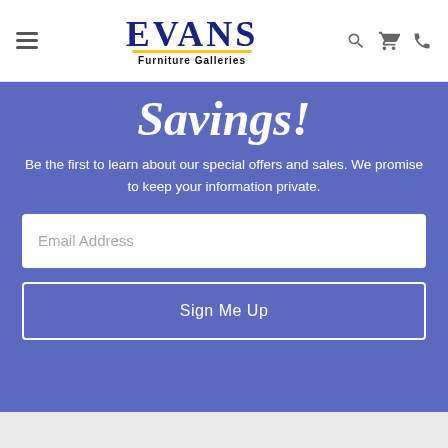[Figure (logo): Evans Furniture Galleries logo with hamburger menu, search, cart, and phone icons in the header]
Savings!
Be the first to learn about our special offers and sales. We promise to keep your information private.
Email Address
Sign Me Up